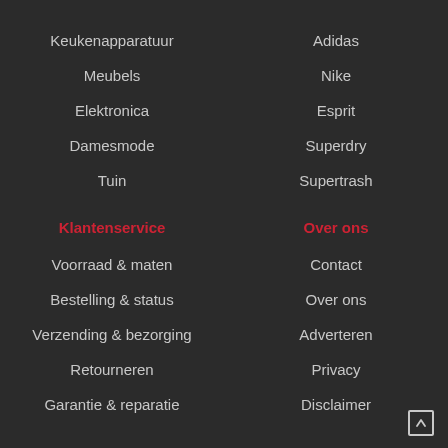Keukenapparatuur
Adidas
Meubels
Nike
Elektronica
Esprit
Damesmode
Superdry
Tuin
Supertrash
Klantenservice
Over ons
Voorraad & maten
Contact
Bestelling & status
Over ons
Verzending & bezorging
Adverteren
Retourneren
Privacy
Garantie & reparatie
Disclaimer